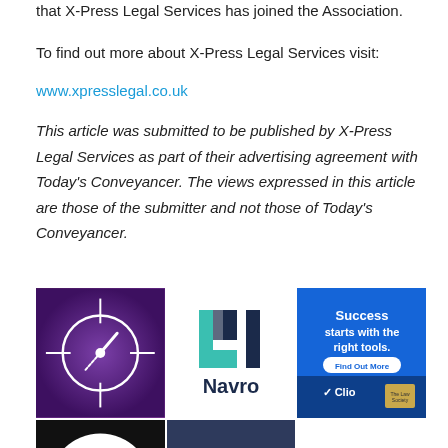that X-Press Legal Services has joined the Association.
To find out more about X-Press Legal Services visit:
www.xpresslegal.co.uk
This article was submitted to be published by X-Press Legal Services as part of their advertising agreement with Today's Conveyancer. The views expressed in this article are those of the submitter and not those of Today's Conveyancer.
[Figure (logo): Purple background with white compass/crosshair circle icon]
[Figure (logo): Navro logo with teal and dark blue N lettermark above the word Navro]
[Figure (logo): Clio blue advertisement: Success starts with the right tools. Find Out More button. Clio logo and The Law Society logo.]
[Figure (logo): Black background with white circle containing text: Legal & Due Diligence Reports with orange dot]
[Figure (logo): Dark navy background with white text: RESIDENTIAL REAL ESTATE LAW FIRMS OF THE FUTURE]
[Figure (logo): Legal Bricks logo: LB letters with LEGAL BRICKS text, purple bricks rectangle]